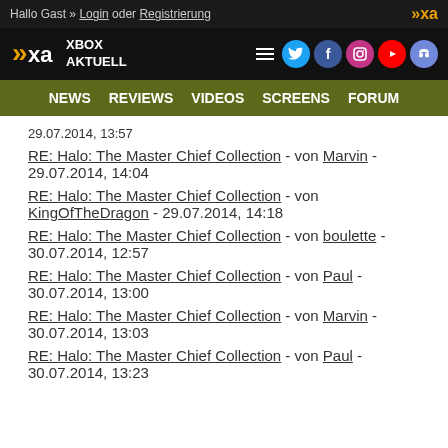Hallo Gast » Login oder Registrierung
[Figure (logo): Xbox Aktuell logo with social media icons (Twitter, Facebook, Instagram, YouTube, Discord)]
NEWS  REVIEWS  VIDEOS  SCREENS  FORUM
29.07.2014, 13:57
RE: Halo: The Master Chief Collection - von Marvin - 29.07.2014, 14:04
RE: Halo: The Master Chief Collection - von KingOfTheDragon - 29.07.2014, 14:18
RE: Halo: The Master Chief Collection - von boulette - 30.07.2014, 12:57
RE: Halo: The Master Chief Collection - von Paul - 30.07.2014, 13:00
RE: Halo: The Master Chief Collection - von Marvin - 30.07.2014, 13:03
RE: Halo: The Master Chief Collection - von Paul - 30.07.2014, 13:23